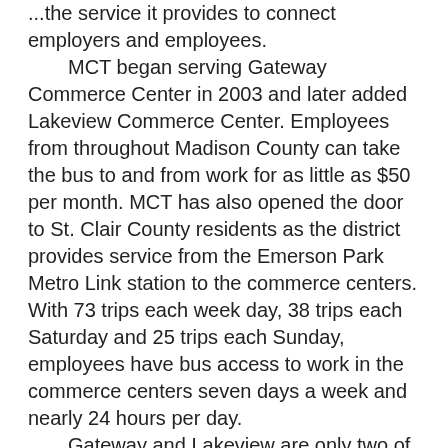...the service it provides to connect employers and employees. MCT began serving Gateway Commerce Center in 2003 and later added Lakeview Commerce Center. Employees from throughout Madison County can take the bus to and from work for as little as $50 per month. MCT has also opened the door to St. Clair County residents as the district provides service from the Emerson Park Metro Link station to the commerce centers. With 73 trips each week day, 38 trips each Saturday and 25 trips each Sunday, employees have bus access to work in the commerce centers seven days a week and nearly 24 hours per day.
Gateway and Lakeview are only two of the major trip generators served by MCT. Bus routes also serve SIUE, Lewis and Clark Community College, SWIC-Granite City, Downtown St. Louis, and Madison County's governmental offices, to name a few.
In addition to bus service, MCT operates RideFinders for the St. Louis region, working with more than 900 employers to promote and organize carpools and vanpools. Vanpools are a viable transportation option for areas that are not served by public transit or during times when transit isn't available.
“Madison County Transit plays an important role in strengthening the business community,” said MCT Director of